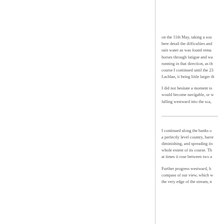on the 11th May, taking a sou here detail the difficulties and rain water as was found rema horses through fatigue and wa running in that direction, as th course I continued until the 23 Lachlan, it being little larger th
I did not hesitate a moment to would become navigable, or w falling westward into the sca,
I continued along the banks o a perfectly level country, barre diminishing, and spreading its whole extent of its course. Th at times it rose between two a
Further progress westward, h compass of our view, which w the very edge of the stream, n